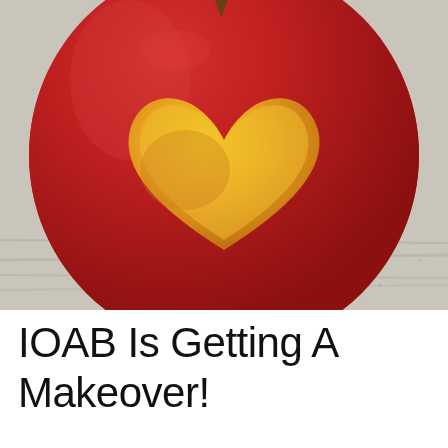[Figure (photo): Close-up photograph of a red apple on a wooden surface with a heart shape carved/peeled into the skin revealing yellow-orange flesh underneath. A pencil is visible beneath the apple.]
IOAB Is Getting A Makeover!